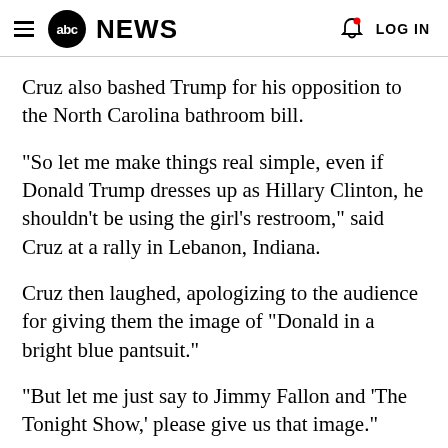abc NEWS  LOG IN
Cruz also bashed Trump for his opposition to the North Carolina bathroom bill.
"So let me make things real simple, even if Donald Trump dresses up as Hillary Clinton, he shouldn’t be using the girl’s restroom," said Cruz at a rally in Lebanon, Indiana.
Cruz then laughed, apologizing to the audience for giving them the image of "Donald in a bright blue pantsuit."
"But let me just say to Jimmy Fallon and 'The Tonight Show,' please give us that image."